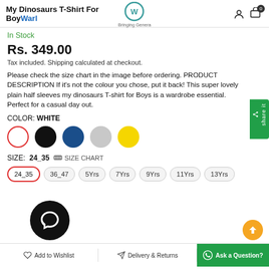My Dinosaurs T-Shirt For Boy | Warl — Bringing Genera
In Stock
Rs. 349.00
Tax included. Shipping calculated at checkout.
Please check the size chart in the image before ordering. PRODUCT DESCRIPTION If it's not the colour you chose, put it back! This super lovely plain half sleeves my dinosaurs T-shirt for Boys is a wardrobe essential. Perfect for a casual day out.
COLOR: WHITE
[Figure (other): Color swatches: white (selected, red border), black, dark blue, gray, yellow]
SIZE: 24_35   SIZE CHART
Size options: 24_35 (selected), 36_47, 5Yrs, 7Yrs, 9Yrs, 11Yrs, 13Yrs
Add to Wishlist   Delivery & Returns   Ask a Question?